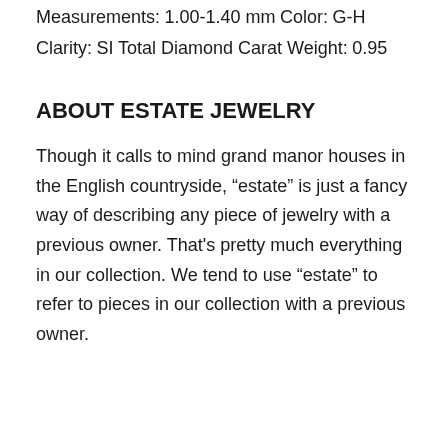Measurements:
1.00-1.40 mm
Color:
G-H
Clarity:
SI
Total Diamond Carat Weight:
0.95
ABOUT ESTATE JEWELRY
Though it calls to mind grand manor houses in the English countryside, “estate” is just a fancy way of describing any piece of jewelry with a previous owner. That’s pretty much everything in our collection. We tend to use “estate” to refer to pieces in our collection with a previous owner.